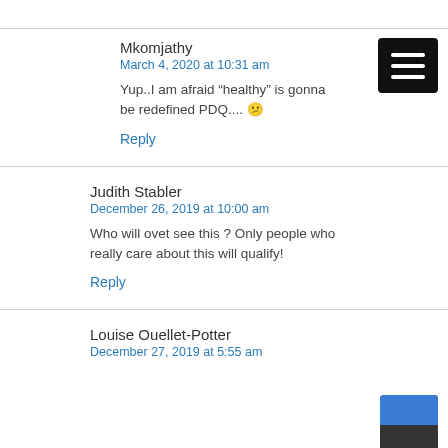Mkomjathy
March 4, 2020 at 10:31 am
Yup..I am afraid “healthy” is gonna be redefined PDQ.... 😐
Reply
Judith Stabler
December 26, 2019 at 10:00 am
Who will ovet see this ? Only people who really care about this will qualify!
Reply
Louise Ouellet-Potter
December 27, 2019 at 5:55 am